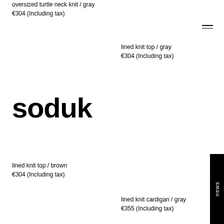oversized turtle neck knit / gray
€304 (Including tax)
lined knit top / gray
€304 (Including tax)
soduk
lined knit top / brown
€304 (Including tax)
news
lined knit cardigan / gray
€355 (Including tax)